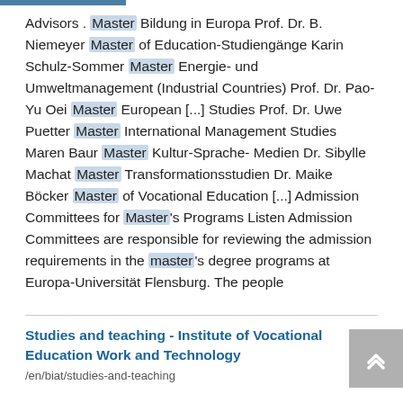Advisors . Master Bildung in Europa Prof. Dr. B. Niemeyer Master of Education-Studiengänge Karin Schulz-Sommer Master Energie- und Umweltmanagement (Industrial Countries) Prof. Dr. Pao-Yu Oei Master European [...] Studies Prof. Dr. Uwe Puetter Master International Management Studies Maren Baur Master Kultur-Sprache-Medien Dr. Sibylle Machat Master Transformationsstudien Dr. Maike Böcker Master of Vocational Education [...] Admission Committees for Master's Programs Listen Admission Committees are responsible for reviewing the admission requirements in the master's degree programs at Europa-Universität Flensburg. The people
Studies and teaching - Institute of Vocational Education Work and Technology
/en/biat/studies-and-teaching